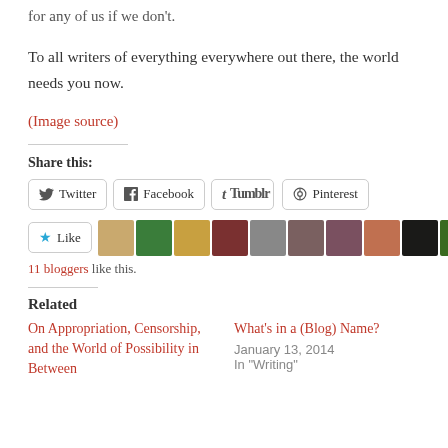for any of us if we don't.
To all writers of everything everywhere out there, the world needs you now.
(Image source)
Share this:
Twitter Facebook Tumblr Pinterest
[Figure (screenshot): Like button and blogger avatars row, with '11 bloggers like this' text below]
Related
On Appropriation, Censorship, and the World of Possibility in Between
What's in a (Blog) Name?
January 13, 2014
In "Writing"